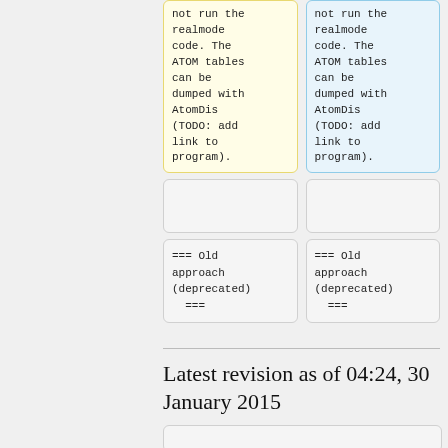not run the realmode code. The ATOM tables can be dumped with AtomDis (TODO: add link to program).
not run the realmode code. The ATOM tables can be dumped with AtomDis (TODO: add link to program).
=== Old approach (deprecated) ===
=== Old approach (deprecated) ===
Latest revision as of 04:24, 30 January 2015